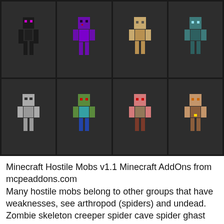[Figure (illustration): A 4x2 grid of Minecraft hostile mob character skins on a dark background. Top row: Enderman (dark/black), purple-robed mob, zombie/husk (tan), drowned (teal/green). Bottom row: skeleton/wither skeleton (grey armored), zombie (green with teal shirt), zombie pigman variant (pink/green decayed), villager zombie or piglin (brown/tan).]
Minecraft Hostile Mobs v1.1 Minecraft AddOns from mcpeaddons.com
Many hostile mobs belong to other groups that have weaknesses, see arthropod (spiders) and undead. Zombie skeleton creeper spider cave spider ghast witch blaze endermite guardian elder guardian icy ender